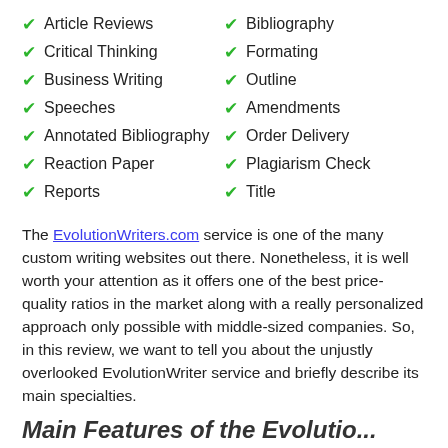Article Reviews
Bibliography
Critical Thinking
Formating
Business Writing
Outline
Speeches
Amendments
Annotated Bibliography
Order Delivery
Reaction Paper
Plagiarism Check
Reports
Title
The EvolutionWriters.com service is one of the many custom writing websites out there. Nonetheless, it is well worth your attention as it offers one of the best price-quality ratios in the market along with a really personalized approach only possible with middle-sized companies. So, in this review, we want to tell you about the unjustly overlooked EvolutionWriter service and briefly describe its main specialties.
Main Features of the Evolutio...